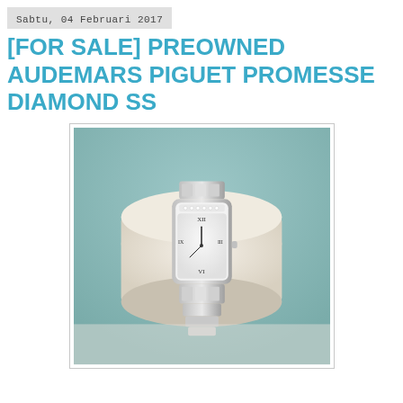Sabtu, 04 Februari 2017
[FOR SALE] PREOWNED AUDEMARS PIGUET PROMESSE DIAMOND SS
[Figure (photo): Photo of a preowned Audemars Piguet Promesse Diamond SS wristwatch displayed on a cream-colored cylindrical watch cushion stand. The watch has a rectangular case in stainless steel with a mother-of-pearl dial, Roman numeral hour markers, and a stainless steel bracelet. The background is light teal/gray.]